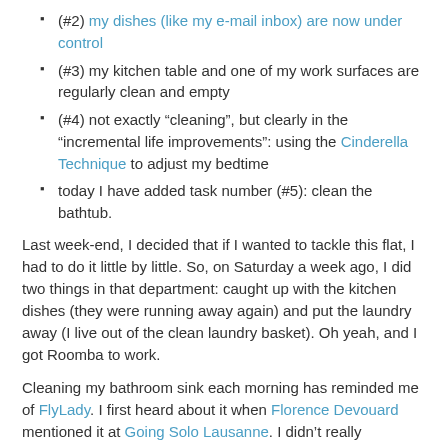(#2) my dishes (like my e-mail inbox) are now under control
(#3) my kitchen table and one of my work surfaces are regularly clean and empty
(#4) not exactly “cleaning”, but clearly in the “incremental life improvements”: using the Cinderella Technique to adjust my bedtime
today I have added task number (#5): clean the bathtub.
Last week-end, I decided that if I wanted to tackle this flat, I had to do it little by little. So, on Saturday a week ago, I did two things in that department: caught up with the kitchen dishes (they were running away again) and put the laundry away (I live out of the clean laundry basket). Oh yeah, and I got Roomba to work.
Cleaning my bathroom sink each morning has reminded me of FlyLady. I first heard about it when Florence Devouard mentioned it at Going Solo Lausanne. I didn’t really investigate it then, but filed it away somewhere under “system/community which starts with cleaning your sink, and then you add extra stuff to do each day”.
I looked it up this afternoon and spent a couple of hours reading through it. FlyLady is a system/community designed for stay-at-home moms, or “Sidetracked Home Executives”. It is e-mail based, and